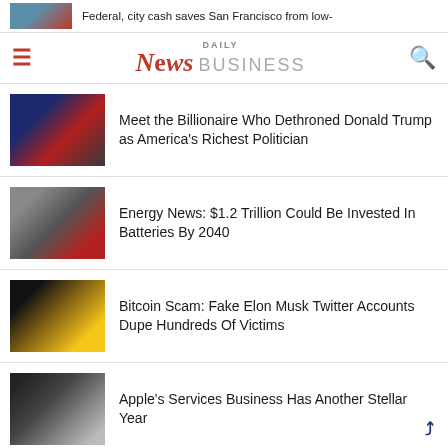Federal, city cash saves San Francisco from low-
DAILY News BUSINESS
Meet the Billionaire Who Dethroned Donald Trump as America's Richest Politician
Energy News: $1.2 Trillion Could Be Invested In Batteries By 2040
Bitcoin Scam: Fake Elon Musk Twitter Accounts Dupe Hundreds Of Victims
Apple's Services Business Has Another Stellar Year